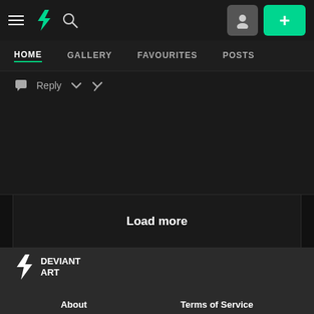[Figure (screenshot): DeviantArt website top navigation bar with hamburger menu, DA logo, search icon, profile button, and green plus button]
HOME   GALLERY   FAVOURITES   POSTS
Reply ∨ ↙
Load more
[Figure (logo): DeviantArt logo — DA lightning bolt icon with DEVIANT ART text in white on dark background]
About   Terms of Service